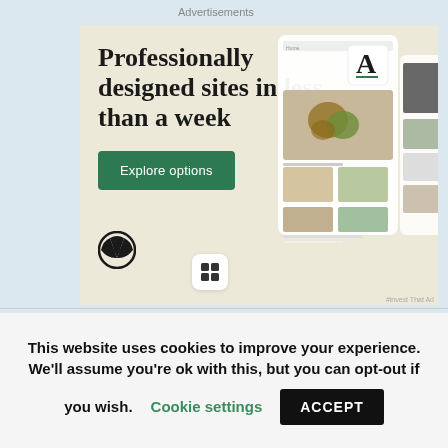Advertisements
[Figure (screenshot): WordPress advertisement banner with beige background. Shows large serif text 'Professionally designed sites in less than a week', a green 'Explore options' button, WordPress logo, and mock website screenshots on the right side.]
S. Darlington
This website uses cookies to improve your experience. We'll assume you're ok with this, but you can opt-out if you wish. Cookie settings ACCEPT